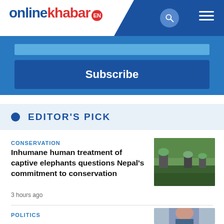onlinekhabar EN
Subscribe
EDITOR'S PICK
CONSERVATION
Inhumane human treatment of captive elephants questions Nepal’s commitment to conservation
[Figure (photo): Elephants with riders walking through water in a jungle/forest setting]
3 hours ago
POLITICS
[Figure (photo): Portrait photo of a person, partially visible at bottom of page]